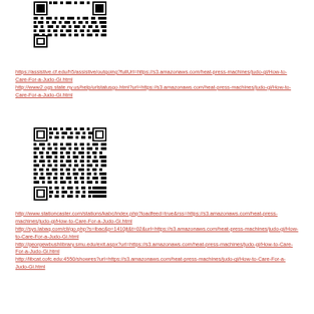[Figure (other): QR code linking to How-to-Care-For-a-Judo-Gi.html via various redirect URLs]
https://assistive.cf.edu/h5/assistive/outgoing?fullUrl=https://s3.amazonaws.com/heat-press-machines/judo-gi/How-to-Care-For-a-Judo-Gi.html http://www2.ogs.state.ny.us/help/urlstatusgo.html?url=https://s3.amazonaws.com/heat-press-machines/judo-gi/How-to-Care-For-a-Judo-Gi.html
[Figure (other): QR code linking to How-to-Care-For-a-Judo-Gi.html via various redirect URLs]
http://www.stationcaster.com/stations/kabc/index.php?loadfeed=true&rss=https://s3.amazonaws.com/heat-press-machines/judo-gi/How-to-Care-For-a-Judo-Gi.html http://sys.labaq.com/cli/go.php?s=lbac&p=1410jt&t=02&url=https://s3.amazonaws.com/heat-press-machines/judo-gi/How-to-Care-For-a-Judo-Gi.html http://georgewbushlibrary.smu.edu/exit.aspx?url=https://s3.amazonaws.com/heat-press-machines/judo-gi/How-to-Care-For-a-Judo-Gi.html http://libcat.cofc.edu:4550/showres?url=https://s3.amazonaws.com/heat-press-machines/judo-gi/How-to-Care-For-a-Judo-Gi.html